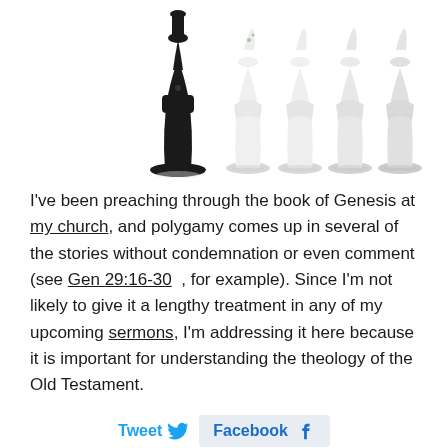[Figure (photo): Wedding cake toppers figurines: one black groom figure on the left and four white bride figures standing in a row on a white background, partially cropped at the top]
I've been preaching through the book of Genesis at my church, and polygamy comes up in several of the stories without condemnation or even comment (see Gen 29:16-30, for example). Since I'm not likely to give it a lengthy treatment in any of my upcoming sermons, I'm addressing it here because it is important for understanding the theology of the Old Testament.
Tweet  Facebook